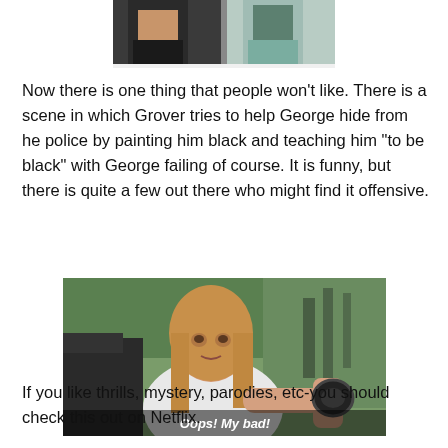[Figure (photo): Partial photo showing two people, cropped at top of page]
Now there is one thing that people won't like. There is a scene in which Grover tries to help George hide from he police by painting him black and teaching him “to be black” with George failing of course. It is funny, but there is quite a few out there who might find it offensive.
[Figure (photo): A blonde woman sitting in a car looking worried or apologetic, with subtitle text 'Oops! My bad!']
If you like thrills, mystery, parodies, etc-you should check this out on Netflix.